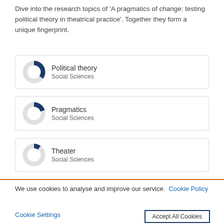Dive into the research topics of 'A pragmatics of change: testing political theory in theatrical practice'. Together they form a unique fingerprint.
[Figure (donut-chart): Donut chart showing Political theory, Social Sciences topic badge with approximately 60% fill in dark navy blue]
Political theory
Social Sciences
[Figure (donut-chart): Donut chart showing Pragmatics, Social Sciences topic badge with approximately 45% fill in dark navy blue]
Pragmatics
Social Sciences
[Figure (donut-chart): Donut chart showing Theater, Social Sciences topic badge with approximately 35% fill in dark navy blue]
Theater
Social Sciences
We use cookies to analyse and improve our service. Cookie Policy
Cookie Settings
Accept All Cookies